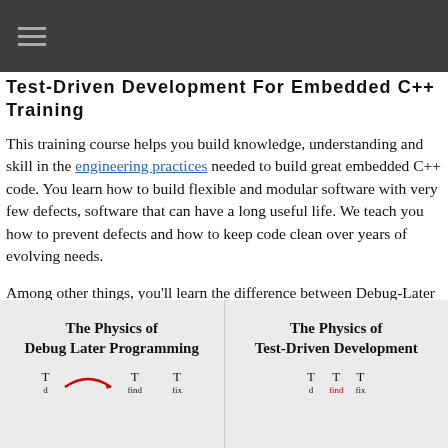Test-Driven Development For Embedded C++ Training
This training course helps you build knowledge, understanding and skill in the engineering practices needed to build great embedded C++ code. You learn how to build flexible and modular software with very few defects, software that can have a long useful life. We teach you how to prevent defects and how to keep code clean over years of evolving needs.
Among other things, you'll learn the difference between Debug-Later Programming (the most popular programming technique on the planet) and Test-Driven Development.
[Figure (other): Two-column physics diagram section. Left: 'The Physics of Debug Later Programming' with T_d, T_find, T_fix labels. Right: 'The Physics of Test-Driven Development' with T_d, T_find, T_fix labels.]